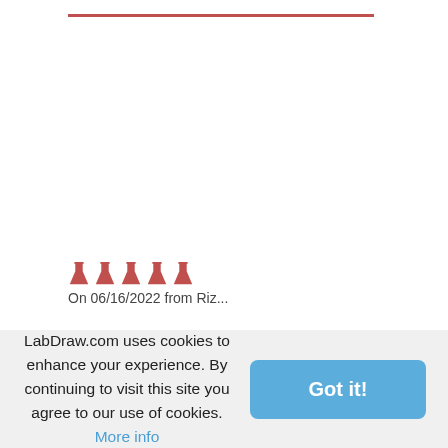[Figure (other): Five red flask/rating icons in a row]
On 06/16/2022 from Riz...
SEARCH LABDRAW.COM
LabDraw.com uses cookies to enhance your experience. By continuing to visit this site you agree to our use of cookies. More info